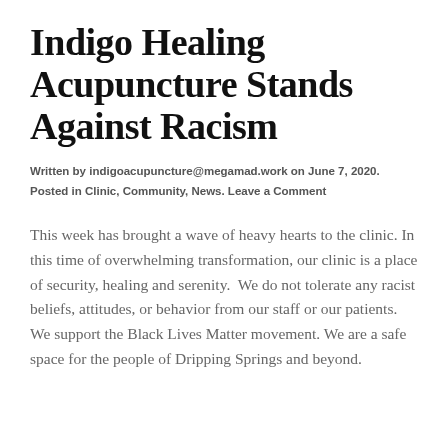Indigo Healing Acupuncture Stands Against Racism
Written by indigoacupuncture@megamad.work on June 7, 2020. Posted in Clinic, Community, News. Leave a Comment
This week has brought a wave of heavy hearts to the clinic. In this time of overwhelming transformation, our clinic is a place of security, healing and serenity.  We do not tolerate any racist beliefs, attitudes, or behavior from our staff or our patients.  We support the Black Lives Matter movement. We are a safe space for the people of Dripping Springs and beyond.